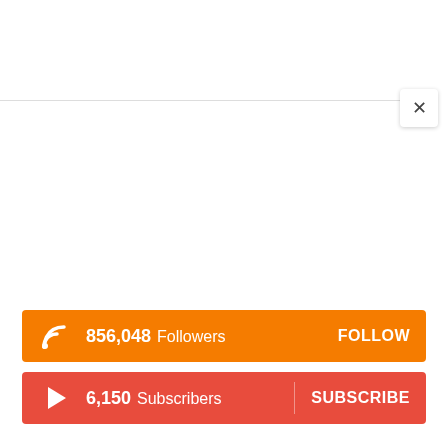[Figure (screenshot): Close (X) button in top-right area of a popup widget]
856,048  Followers  FOLLOW
6,150  Subscribers  SUBSCRIBE